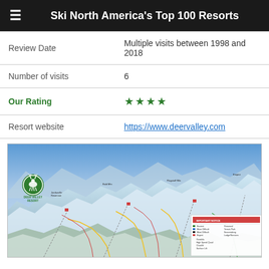Ski North America's Top 100 Resorts
| Review Date | Multiple visits between 1998 and 2018 |
| Number of visits | 6 |
| Our Rating | ★★★★ |
| Resort website | https://www.deervalley.com |
[Figure (map): Deer Valley Resort trail map showing ski runs, lifts, and terrain across the mountain. The Deer Valley Resort logo (green circle with deer) is visible in the upper left. A legend/key is shown in the lower right corner.]